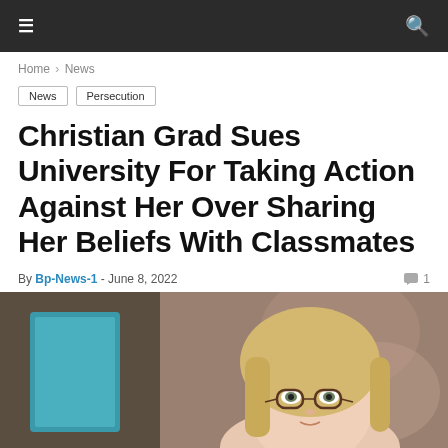≡  🔍
Home › News
News  Persecution
Christian Grad Sues University For Taking Action Against Her Over Sharing Her Beliefs With Classmates
By Bp-News-1 - June 8, 2022  💬 1
[Figure (photo): Blonde woman with glasses, blurred background with teal book, professional portrait style]